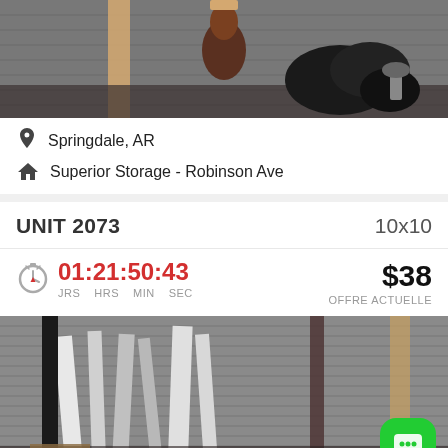[Figure (photo): Interior of a storage unit showing items including a brown vase/lamp and black garbage bags]
Springdale, AR
Superior Storage - Robinson Ave
UNIT 2073    10x10
01:21:50:43 JRS HRS MIN SEC
$38 OFFRE ACTUELLE
[Figure (photo): Interior of another storage unit showing furniture items including what appear to be frames and boards leaning against metal walls]